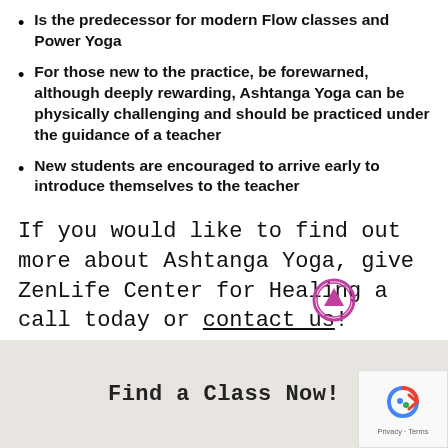Is the predecessor for modern Flow classes and Power Yoga
For those new to the practice, be forewarned, although deeply rewarding,  Ashtanga Yoga can be physically challenging and should be practiced under the guidance of a teacher
New students are encouraged to  arrive early to introduce themselves to the teacher
If you would like to find out more about Ashtanga Yoga, give ZenLife Center for Healing a call today or contact us!
Find a Class Now!